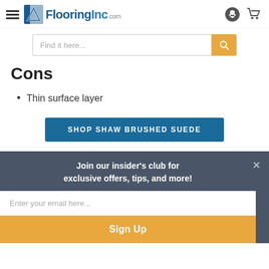FlooringInc.com — navigation header with hamburger menu, logo, chat and cart icons
Find it here...
Cons
Thin surface layer
SHOP SHAW BRUSHED SUEDE
Join our insider's club for exclusive offers, tips, and more!
Enter your email here...
Sign Up